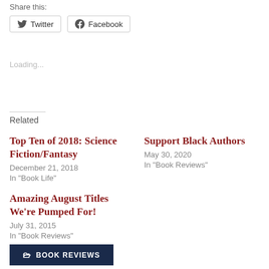Share this:
Twitter  Facebook
Loading...
Related
Top Ten of 2018: Science Fiction/Fantasy
December 21, 2018
In "Book Life"
Support Black Authors
May 30, 2020
In "Book Reviews"
Amazing August Titles We're Pumped For!
July 31, 2015
In "Book Reviews"
BOOK REVIEWS